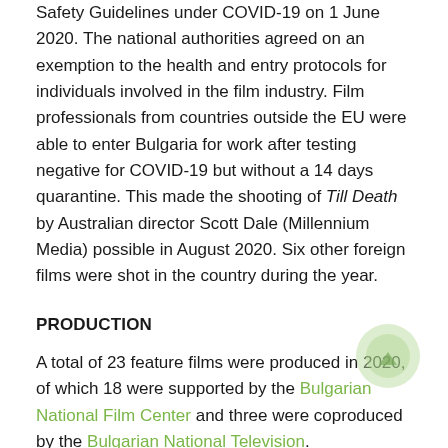Safety Guidelines under COVID-19 on 1 June 2020. The national authorities agreed on an exemption to the health and entry protocols for individuals involved in the film industry. Film professionals from countries outside the EU were able to enter Bulgaria for work after testing negative for COVID-19 but without a 14 days quarantine. This made the shooting of Till Death by Australian director Scott Dale (Millennium Media) possible in August 2020. Six other foreign films were shot in the country during the year.
PRODUCTION
A total of 23 feature films were produced in 2020, of which 18 were supported by the Bulgarian National Film Center and three were coproduced by the Bulgarian National Television.
Three feature films were made as majority coproductions and five as minority coproductions. There were six feature film debuts.
A total of 32 short films was made in 2020, of which four were